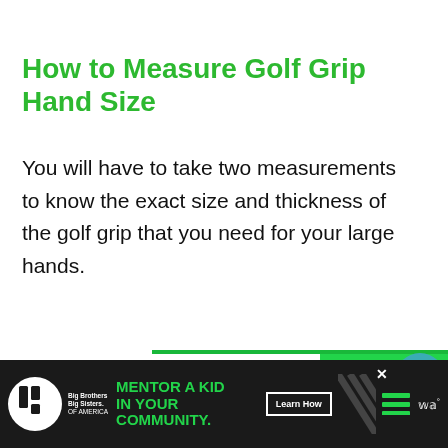How to Measure Golf Grip Hand Size
You will have to take two measurements to know the exact size and thickness of the golf grip that you need for your large hands.
[Figure (screenshot): Green advertisement banner for Big Brothers Big Sisters of America: 'MILLIONS OF KIDS ARE GROWING UP WITHOUT A MENTOR. BECOME A BIG TODAY' with Learn How button]
[Figure (screenshot): Sidebar icons: teal heart/save button and share button]
[Figure (screenshot): What's Next panel showing Golf Cart Lift Kit (Troubleshooti... with thumbnail]
[Figure (screenshot): Bottom dark ad bar: Big Brothers Big Sisters 'MENTOR A KID IN YOUR COMMUNITY' with Learn How button]